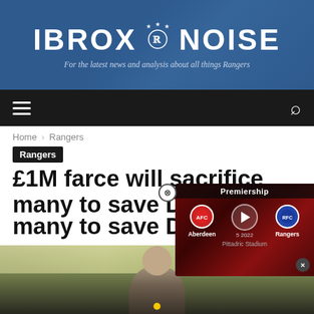IBROX NOISE — For the latest news and analysis about all things Rangers
Home › Rangers
Rangers
£1M farce will sacrifice many to save Doncaster
Ibrox Noise – November 5, 2020
[Figure (screenshot): Video popup overlay showing a Premiership match: Aberdeen vs Rangers, Pittodrie Stadium, with play button and team crests]
[Figure (photo): Photograph of a man (manager) in front of a stadium with a yellow and blue crest visible]